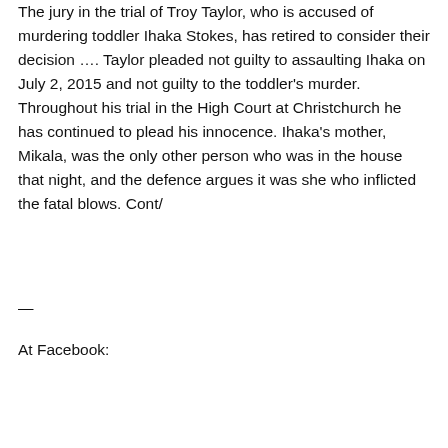The jury in the trial of Troy Taylor, who is accused of murdering toddler Ihaka Stokes, has retired to consider their decision …. Taylor pleaded not guilty to assaulting Ihaka on July 2, 2015 and not guilty to the toddler's murder. Throughout his trial in the High Court at Christchurch he has continued to plead his innocence. Ihaka's mother, Mikala, was the only other person who was in the house that night, and the defence argues it was she who inflicted the fatal blows. Cont/
—
At Facebook: